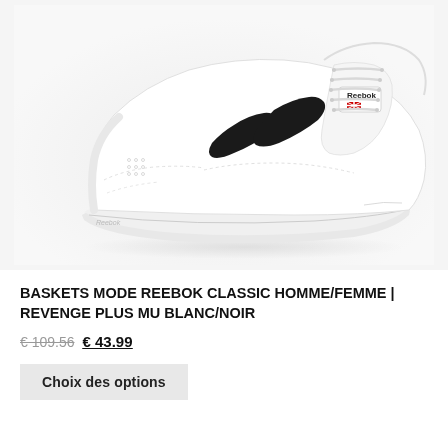[Figure (photo): White Reebok Classic sneaker (Revenge Plus MU) with black chevron stripes and Reebok logo on tongue, shown from side angle on white/light grey background]
BASKETS MODE REEBOK CLASSIC HOMME/FEMME | REVENGE PLUS MU BLANC/NOIR
€ 109.56 € 43.99
Choix des options